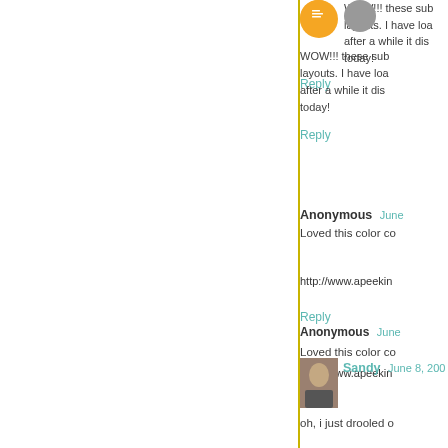WOW!!! these sub layouts. I have loa after a while it dis today!
Reply
Anonymous June...
Loved this color co
http://www.apeekin
Reply
Sandy June 8, 200...
oh, i just drooled o
http://www.scrapins
Reply